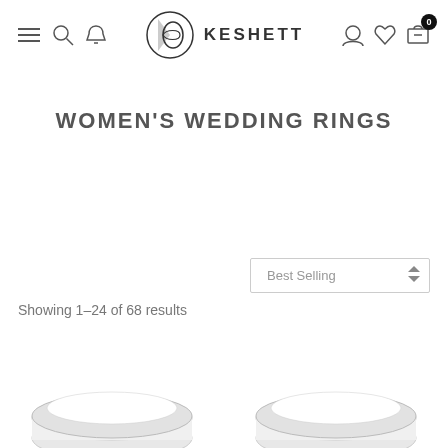KESHETT navigation header with menu, search, bell, logo, account, wishlist, and cart icons
WOMEN'S WEDDING RINGS
Best Selling (dropdown sort selector)
Showing 1–24 of 68 results
[Figure (photo): Two silver women's wedding rings partially visible at the bottom of the page]